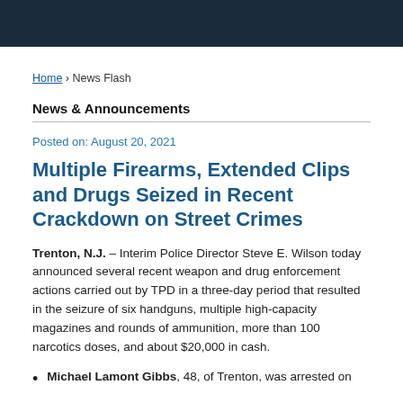Home › News Flash
News & Announcements
Posted on: August 20, 2021
Multiple Firearms, Extended Clips and Drugs Seized in Recent Crackdown on Street Crimes
Trenton, N.J. – Interim Police Director Steve E. Wilson today announced several recent weapon and drug enforcement actions carried out by TPD in a three-day period that resulted in the seizure of six handguns, multiple high-capacity magazines and rounds of ammunition, more than 100 narcotics doses, and about $20,000 in cash.
Michael Lamont Gibbs, 48, of Trenton, was arrested on